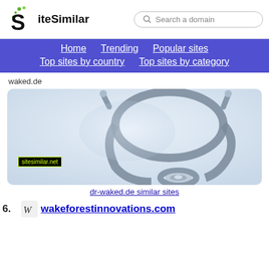[Figure (logo): SiteSimilar logo with stylized S and green dots]
Search a domain
Home | Trending | Popular sites | Top sites by country | Top sites by category
waked.de
[Figure (photo): Photo of a stethoscope on white background with sitesimilar.net watermark]
dr-waked.de similar sites
56. wakeforestinnovations.com